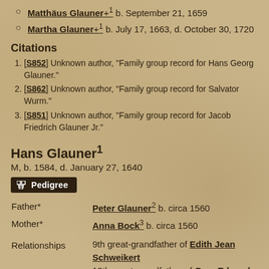Matthäus Glauner+1 b. September 21, 1659
Martha Glauner+1 b. July 17, 1663, d. October 30, 1720
Citations
[S852] Unknown author, "Family group record for Hans Georg Glauner."
[S862] Unknown author, "Family group record for Salvator Wurm."
[S851] Unknown author, "Family group record for Jacob Friedrich Glauner Jr."
Hans Glauner1
M, b. 1584, d. January 27, 1640
Father* Peter Glauner2 b. circa 1560
Mother* Anna Bock3 b. circa 1560
Relationships 9th great-grandfather of Edith Jean Schweikert; 10th great-grandfather of Gary Edward Dunscombe